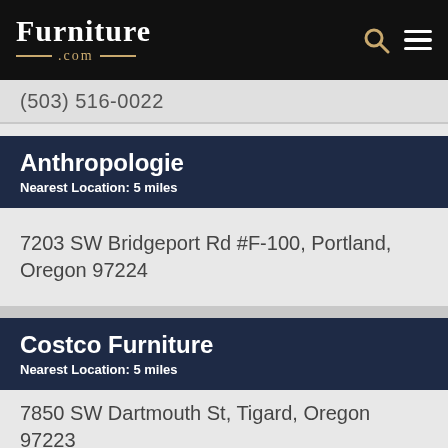Furniture.com
(503) 516-0022
Anthropologie
Nearest Location: 5 miles
7203 SW Bridgeport Rd #F-100, Portland, Oregon 97224
Costco Furniture
Nearest Location: 5 miles
7850 SW Dartmouth St, Tigard, Oregon 97223
HomeGoods
Nearest Location: 5 miles